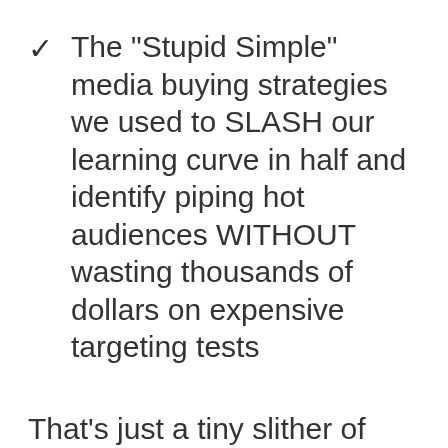The "Stupid Simple" media buying strategies we used to SLASH our learning curve in half and identify piping hot audiences WITHOUT wasting thousands of dollars on expensive targeting tests
That's just a tiny slither of everything you'll learn inside of this advanced training.